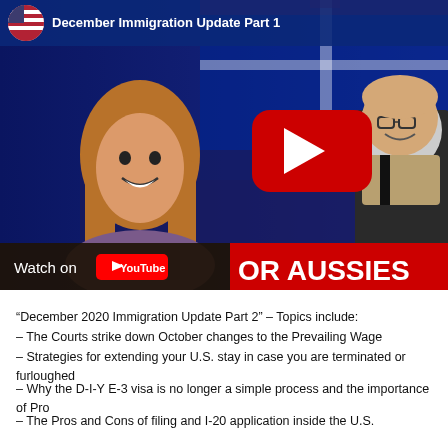[Figure (screenshot): YouTube video thumbnail for 'December Immigration Update Part 1' showing a woman with long hair smiling, a man in glasses on the right, Australian flag background, U.S. immigration text, a YouTube play button in the center, and a 'Watch on YouTube' bar at the bottom with red banner text 'OR AUSSIES']
“December 2020 Immigration Update Part 2” – Topics include:
– The Courts strike down October changes to the Prevailing Wage
– Strategies for extending your U.S. stay in case you are terminated or furloughed
– Why the D-I-Y E-3 visa is no longer a simple process and the importance of Pro
– The Pros and Cons of filing and I-20 application inside the U.S.